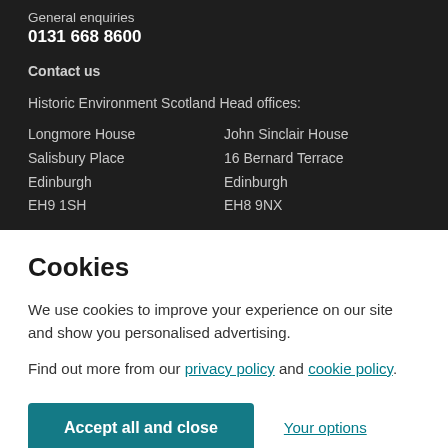General enquiries
0131 668 8600
Contact us
Historic Environment Scotland Head offices:
Longmore House
Salisbury Place
Edinburgh
EH9 1SH
John Sinclair House
16 Bernard Terrace
Edinburgh
EH8 9NX
Cookies
We use cookies to improve your experience on our site and show you personalised advertising.
Find out more from our privacy policy and cookie policy.
Accept all and close
Your options